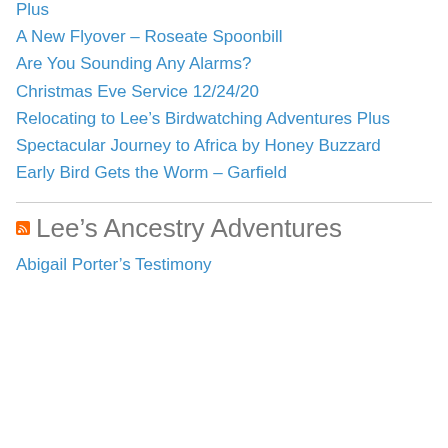Plus
A New Flyover – Roseate Spoonbill
Are You Sounding Any Alarms?
Christmas Eve Service 12/24/20
Relocating to Lee's Birdwatching Adventures Plus
Spectacular Journey to Africa by Honey Buzzard
Early Bird Gets the Worm – Garfield
Lee's Ancestry Adventures
Abigail Porter's Testimony